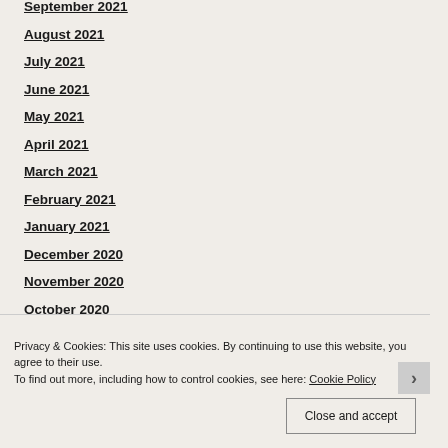September 2021
August 2021
July 2021
June 2021
May 2021
April 2021
March 2021
February 2021
January 2021
December 2020
November 2020
October 2020
September 2020
August 2020
July 2020
June 2020
Privacy & Cookies: This site uses cookies. By continuing to use this website, you agree to their use. To find out more, including how to control cookies, see here: Cookie Policy
Close and accept